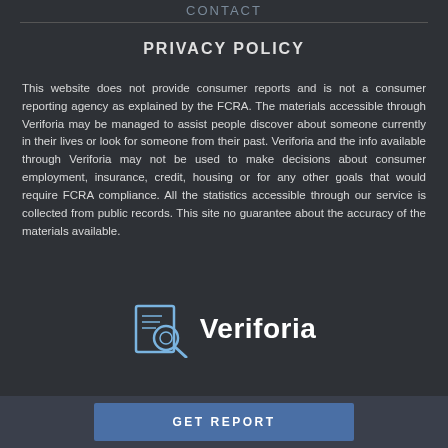CONTACT
PRIVACY POLICY
This website does not provide consumer reports and is not a consumer reporting agency as explained by the FCRA. The materials accessible through Veriforia may be managed to assist people discover about someone currently in their lives or look for someone from their past. Veriforia and the info available through Veriforia may not be used to make decisions about consumer employment, insurance, credit, housing or for any other goals that would require FCRA compliance. All the statistics accessible through our service is collected from public records. This site no guarantee about the accuracy of the materials available.
[Figure (logo): Veriforia logo with magnifying glass icon and bold text 'Veriforia']
GET REPORT